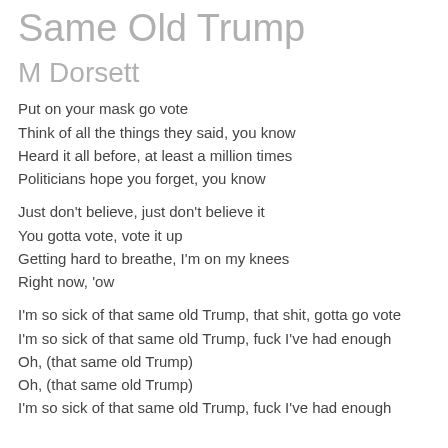Same Old Trump
M Dorsett
Put on your mask go vote
Think of all the things they said, you know
Heard it all before, at least a million times
Politicians hope you forget, you know
Just don't believe, just don't believe it
You gotta vote, vote it up
Getting hard to breathe, I'm on my knees
Right now, 'ow
I'm so sick of that same old Trump, that shit, gotta go vote
I'm so sick of that same old Trump, fuck I've had enough
Oh, (that same old Trump)
Oh, (that same old Trump)
I'm so sick of that same old Trump, fuck I've had enough